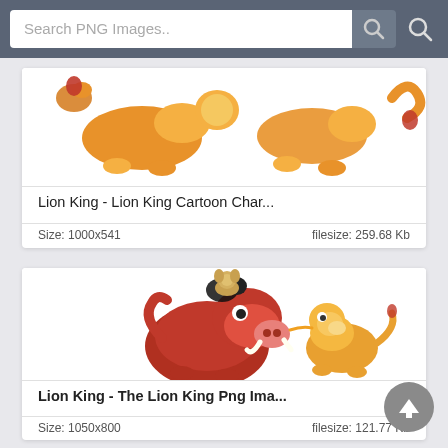Search PNG Images..
[Figure (screenshot): Lion King cartoon characters - lions lying down, partial view of image card]
Lion King - Lion King Cartoon Char...
Size: 1000x541 filesize: 259.68 Kb
[Figure (illustration): Lion King characters - Pumbaa (warthog), Timon (meerkat on top), and Simba (lion cub) cartoon illustration]
Lion King - The Lion King Png Ima...
Size: 1050x800 filesize: 121.77 Kb